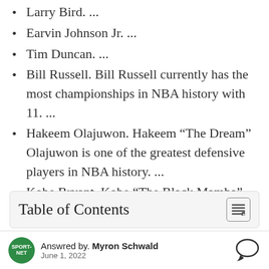Larry Bird. ...
Earvin Johnson Jr. ...
Tim Duncan. ...
Bill Russell. Bill Russell currently has the most championships in NBA history with 11. ...
Hakeem Olajuwon. Hakeem “The Dream” Olajuwon is one of the greatest defensive players in NBA history. ...
Kobe Bryant. Kobe “The Black Mamba” Bryant defined the 2000s. ...
Table of Contents
Answred by. Myron Schwald
June 1, 2022